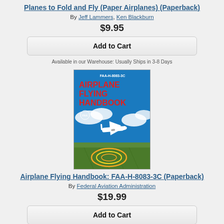Planes to Fold and Fly (Paper Airplanes) (Paperback)
By Jeff Lammers, Ken Blackburn
$9.95
Add to Cart
Available in our Warehouse: Usually Ships in 3-8 Days
[Figure (photo): Book cover of Airplane Flying Handbook FAA-H-8083-3C showing an airplane over clouds and terrain with color trails]
Airplane Flying Handbook: FAA-H-8083-3C (Paperback)
By Federal Aviation Administration
$19.99
Add to Cart
Available in our Warehouse: Usually Ships in 3-8 Days